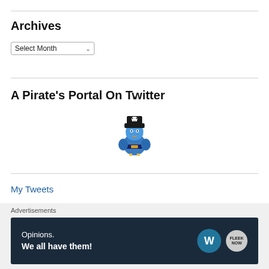Archives
Select Month
A Pirate's Portal On Twitter
[Figure (illustration): A small cartoon blue bird dressed as a pirate, wearing a black pirate hat with a skull and crossbones, and a blue and gold pirate outfit.]
My Tweets
Advertisements
[Figure (screenshot): Advertisement banner with dark navy background showing text 'Opinions. We all have them!' with WordPress and FleekNow logos on the right.]